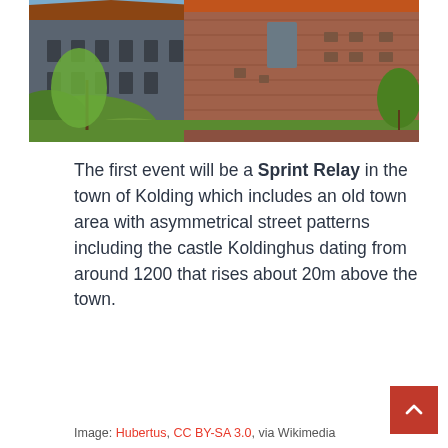[Figure (photo): Photograph of Koldinghus castle, a large brick medieval castle with red-tiled roofs, surrounded by green trees and grass under a blue sky.]
The first event will be a Sprint Relay in the town of Kolding which includes an old town area with asymmetrical street patterns including the castle Koldinghus dating from around 1200 that rises about 20m above the town.
Image: Hubertus, CC BY-SA 3.0, via Wikimedia